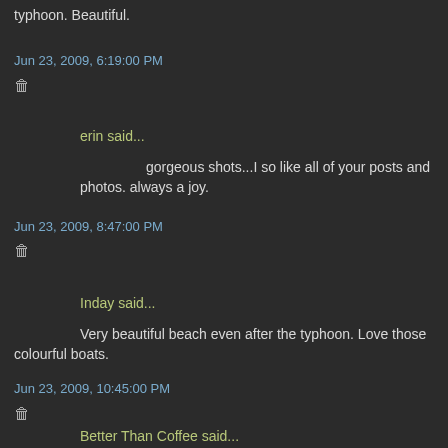typhoon. Beautiful.
Jun 23, 2009, 6:19:00 PM
erin said...
gorgeous shots...I so like all of your posts and photos. always a joy.
Jun 23, 2009, 8:47:00 PM
Inday said...
Very beautiful beach even after the typhoon. Love those colourful boats.
Jun 23, 2009, 10:45:00 PM
Better Than Coffee said...